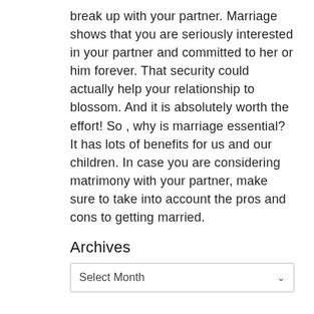break up with your partner. Marriage shows that you are seriously interested in your partner and committed to her or him forever. That security could actually help your relationship to blossom. And it is absolutely worth the effort! So , why is marriage essential? It has lots of benefits for us and our children. In case you are considering matrimony with your partner, make sure to take into account the pros and cons to getting married.
Archives